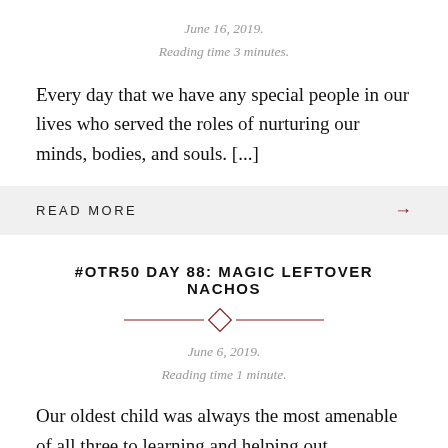June 16, 2019.
Reading time 3 minutes.
Every day that we have any special people in our lives who served the roles of nurturing our minds, bodies, and souls. [...]
READ MORE →
#OTR50 DAY 88: MAGIC LEFTOVER NACHOS
June 6, 2019.
Reading time 1 minute.
Our oldest child was always the most amenable of all three to learning and helping out.
Since moving back home, I've learned that the kid has